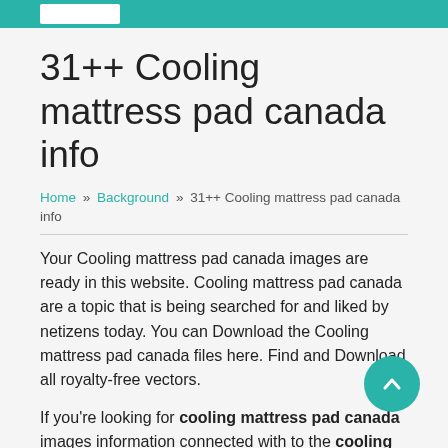31++ Cooling mattress pad canada info
Home » Background » 31++ Cooling mattress pad canada info
Your Cooling mattress pad canada images are ready in this website. Cooling mattress pad canada are a topic that is being searched for and liked by netizens today. You can Download the Cooling mattress pad canada files here. Find and Download all royalty-free vectors.
If you're looking for cooling mattress pad canada images information connected with to the cooling mattress pad canada keyword, you have pay a visit to the right site. Our website frequently gives you suggestions for seeing the maximum quality video and picture content, please kindly hunt and find more